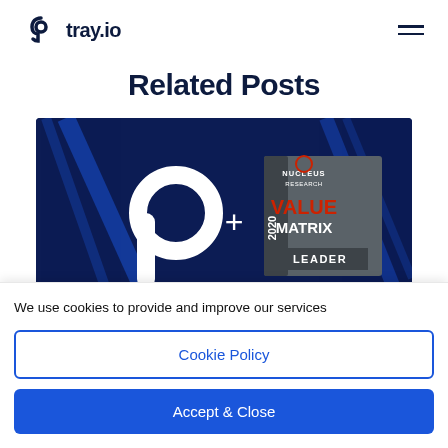[Figure (logo): tray.io logo with stylized 'p' icon and hamburger menu icon on the right]
Related Posts
[Figure (photo): Dark navy background image showing tray.io logo (white stylized 'p') with a plus sign and Nucleus Research 2020 Value Matrix Leader badge]
We use cookies to provide and improve our services
Cookie Policy
Accept & Close
must adapt